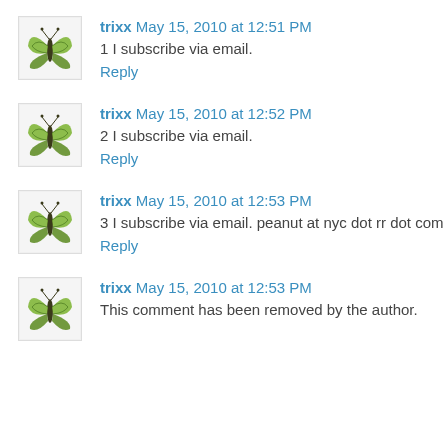trixx May 15, 2010 at 12:51 PM
1 I subscribe via email.
Reply
trixx May 15, 2010 at 12:52 PM
2 I subscribe via email.
Reply
trixx May 15, 2010 at 12:53 PM
3 I subscribe via email. peanut at nyc dot rr dot com
Reply
trixx May 15, 2010 at 12:53 PM
This comment has been removed by the author.